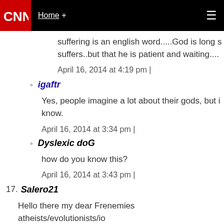CNN Home +
suffering is an english word.....God is long s suffers..but that he is patient and waiting....
April 16, 2014 at 4:19 pm |
igaftr
Yes, people imagine a lot about their gods, but i know.
April 16, 2014 at 3:34 pm |
Dyslexic doG
how do you know this?
April 16, 2014 at 3:43 pm |
17. Salero21
Hello there my dear Frenemies atheists/evolutionists/io etc.
Just sitting here for a few minutes, facing my PC Moni